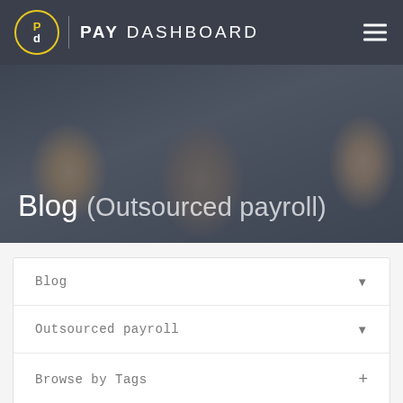PAY DASHBOARD
[Figure (photo): Hero photo of people in a meeting/office discussion, overlaid with semi-transparent dark background]
Blog (Outsourced payroll)
Blog
Outsourced payroll
Browse by Tags